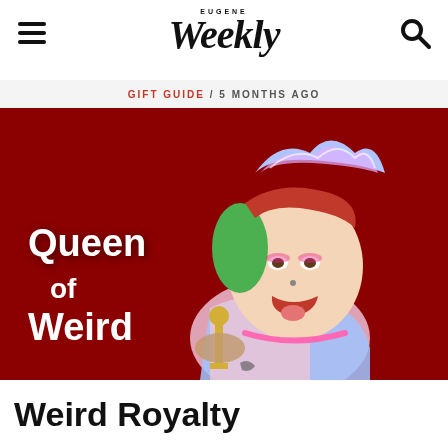EUGENE Weekly
GIFT GUIDE / 5 Months Ago
[Figure (photo): A colorful, eccentrically dressed person posing with a red background, wearing a holographic crown and rainbow outfit, with text overlay reading 'Queen of Weird']
Weird Royalty